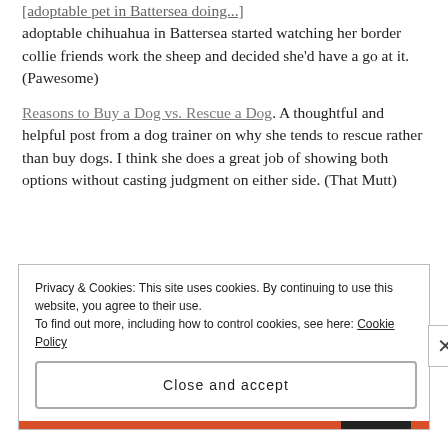adoptable chihuahua in Battersea started watching her border collie friends work the sheep and decided she'd have a go at it. (Pawesome)
Reasons to Buy a Dog vs. Rescue a Dog. A thoughtful and helpful post from a dog trainer on why she tends to rescue rather than buy dogs. I think she does a great job of showing both options without casting judgment on either side. (That Mutt)
Privacy & Cookies: This site uses cookies. By continuing to use this website, you agree to their use. To find out more, including how to control cookies, see here: Cookie Policy
Close and accept